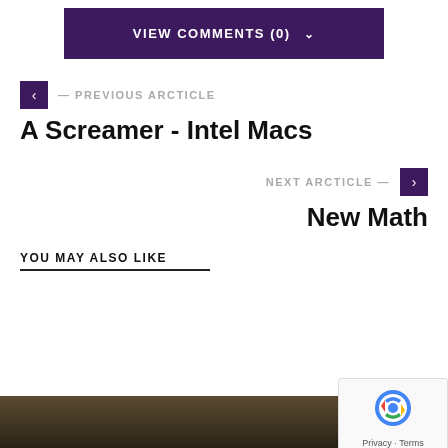[Figure (other): VIEW COMMENTS (0) button — dark purple background with white uppercase text and a chevron-down icon]
— PREVIOUS ARCTICLE
A Screamer - Intel Macs
NEXT ARCTICLE —
New Math
YOU MAY ALSO LIKE
[Figure (photo): Partial photo strip at bottom of page showing people in dark tones]